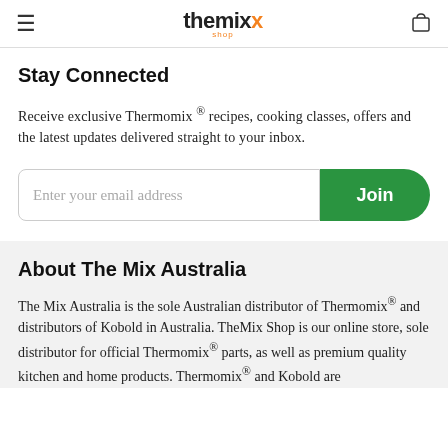themix shop
Stay Connected
Receive exclusive Thermomix ® recipes, cooking classes, offers and the latest updates delivered straight to your inbox.
Enter your email address  Join
About The Mix Australia
The Mix Australia is the sole Australian distributor of Thermomix® and distributors of Kobold in Australia. TheMix Shop is our online store, sole distributor for official Thermomix® parts, as well as premium quality kitchen and home products. Thermomix® and Kobold are